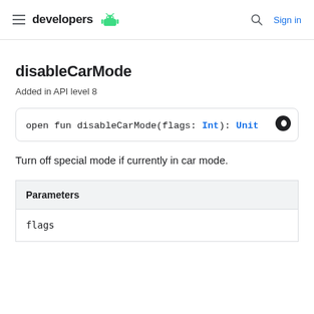developers  Sign in
disableCarMode
Added in API level 8
open fun disableCarMode(flags: Int): Unit
Turn off special mode if currently in car mode.
| Parameters |
| --- |
| flags |